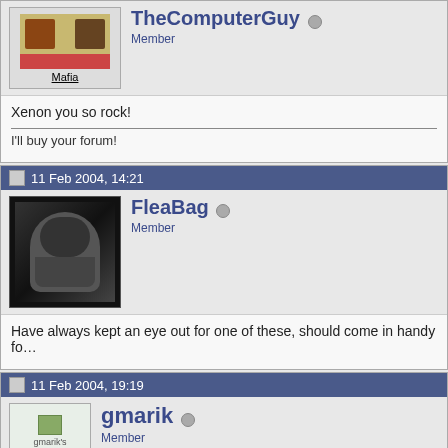TheComputerGuy — Member
Xenon you so rock!
I'll buy your forum!
11 Feb 2004, 14:21
FleaBag — Member
Have always kept an eye out for one of these, should come in handy fo…
11 Feb 2004, 19:19
gmarik — Member
Nice and easy.